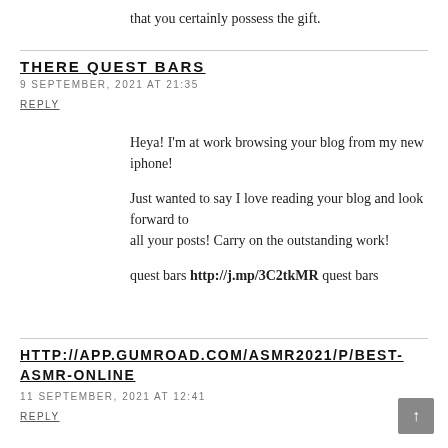that you certainly possess the gift.
THERE QUEST BARS
9 SEPTEMBER, 2021 AT 21:35
REPLY
Heya! I'm at work browsing your blog from my new iphone!

Just wanted to say I love reading your blog and look forward to all your posts! Carry on the outstanding work!

quest bars http://j.mp/3C2tkMR quest bars
HTTP://APP.GUMROAD.COM/ASMR2021/P/BEST-ASMR-ONLINE
11 SEPTEMBER, 2021 AT 12:41
REPLY